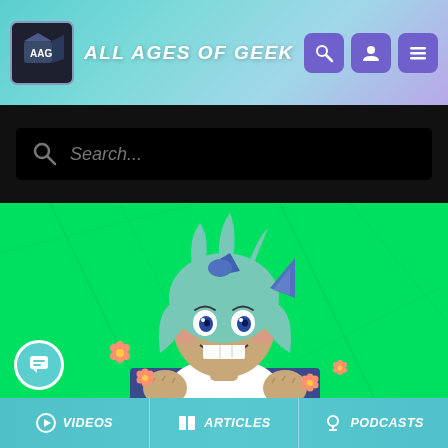ALL AGES OF GEEK
Search...
[Figure (illustration): Anime-style character with teal/blue hair and cat ears, grinning enthusiastically with fists raised, on a bright green background with small flower decorations]
VIDEOS  ARTICLES  PODCASTS